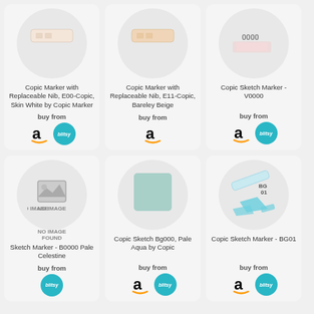[Figure (photo): Copic marker product image - skin white color swatch]
Copic Marker with Replaceable Nib, E00-Copic, Skin White by Copic Marker
buy from
[Figure (logo): Amazon and Blitsy store logos]
[Figure (photo): Copic marker product image - bareley beige color swatch]
Copic Marker with Replaceable Nib, E11-Copic, Bareley Beige
buy from
[Figure (logo): Amazon store logo]
[Figure (photo): Copic Sketch Marker V0000 product image]
Copic Sketch Marker - V0000
buy from
[Figure (logo): Amazon and Blitsy store logos]
[Figure (photo): No image found placeholder]
Sketch Marker - B0000 Pale Celestine
buy from
[Figure (logo): Blitsy store logo]
[Figure (photo): Copic Sketch BG000 Pale Aqua color swatch]
Copic Sketch Bg000, Pale Aqua by Copic
buy from
[Figure (logo): Amazon and Blitsy store logos]
[Figure (photo): Copic Sketch Marker BG01 product image]
Copic Sketch Marker - BG01
buy from
[Figure (logo): Amazon and Blitsy store logos]